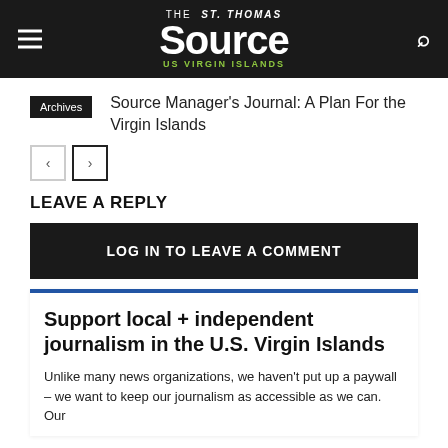The St. Thomas Source — US Virgin Islands
Source Manager's Journal: A Plan For the Virgin Islands
Archives
LEAVE A REPLY
LOG IN TO LEAVE A COMMENT
Support local + independent journalism in the U.S. Virgin Islands
Unlike many news organizations, we haven't put up a paywall – we want to keep our journalism as accessible as we can. Our